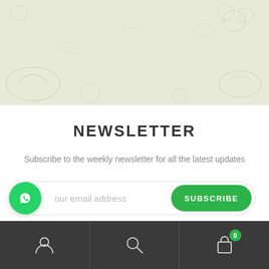[Figure (illustration): Hero banner with light green/beige background featuring faint food-related decorative illustrations]
NEWSLETTER
Subscribe to the weekly newsletter for all the latest updates
[Figure (screenshot): Email subscription input field with placeholder 'your email address' and a green SUBSCRIBE button on the right; a green WhatsApp icon overlaps the left side]
[Figure (infographic): Bottom navigation bar with dark background containing user/account icon, search icon, and shopping bag icon with badge showing 0]